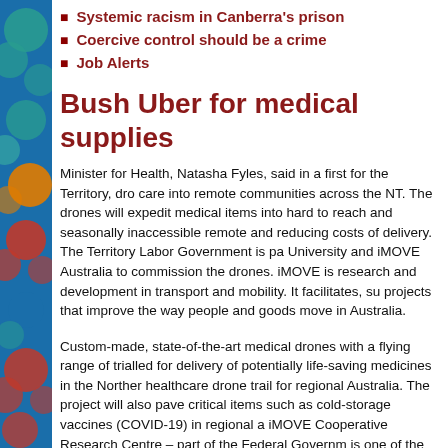Systemic racism in Canberra's prison
Coercive control should be a crime
Job Alerts
Bush Uber for medical supplies
Minister for Health, Natasha Fyles, said in a first for the Territory, dro... care into remote communities across the NT. The drones will expedit... medical items into hard to reach and seasonally inaccessible remote... and reducing costs of delivery. The Territory Labor Government is pa... University and iMOVE Australia to commission the drones. iMOVE is... research and development in transport and mobility. It facilitates, su... projects that improve the way people and goods move in Australia.
Custom-made, state-of-the-art medical drones with a flying range of... trialled for delivery of potentially life-saving medicines in the Norther... healthcare drone trail for regional Australia. The project will also pave... critical items such as cold-storage vaccines (COVID-19) in regional a... iMOVE Cooperative Research Centre – part of the Federal Governm... is one of the most sparsely settled jurisdictions in the developed wor... population living in remote communities.
To view the Minister for Health's media release click here and to vie...